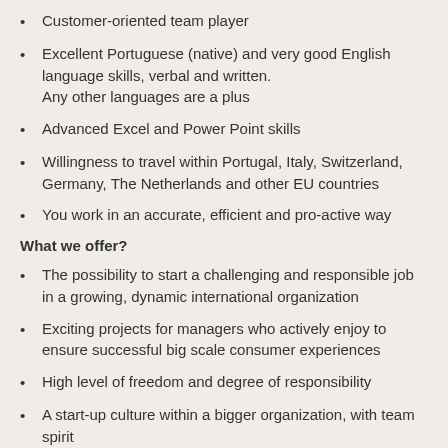Customer-oriented team player
Excellent Portuguese (native) and very good English language skills, verbal and written.
Any other languages are a plus
Advanced Excel and Power Point skills
Willingness to travel within Portugal, Italy, Switzerland, Germany, The Netherlands and other EU countries
You work in an accurate, efficient and pro-active way
What we offer?
The possibility to start a challenging and responsible job in a growing, dynamic international organization
Exciting projects for managers who actively enjoy to ensure successful big scale consumer experiences
High level of freedom and degree of responsibility
A start-up culture within a bigger organization, with team spirit